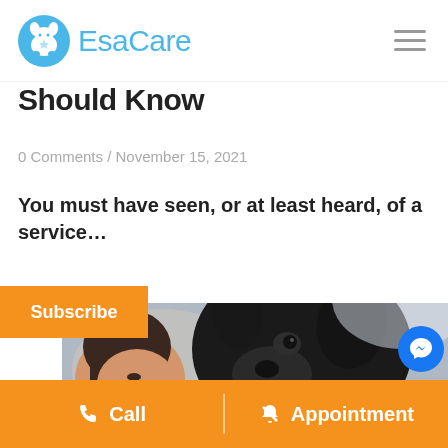EsaCare
Should Know
0 Comments / November 15, 2021
You must have seen, or at least heard, of a service...
[Figure (photo): A woman smiling at a black dog close up, both facing each other]
Call   Appointment